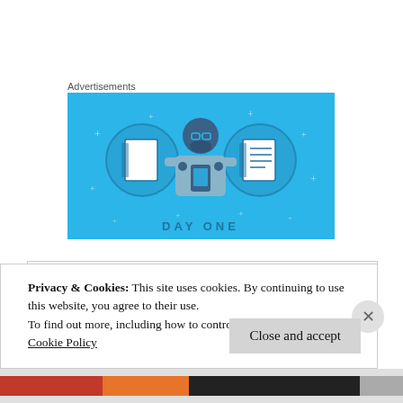Advertisements
[Figure (illustration): Day One app advertisement banner with light blue background showing a cartoon person holding a phone, flanked by two circular icons showing a blank notebook and a lined notebook. Text at the bottom reads DAY ONE.]
Privacy & Cookies: This site uses cookies. By continuing to use this website, you agree to their use.
To find out more, including how to control cookies, see here:
Cookie Policy
Close and accept